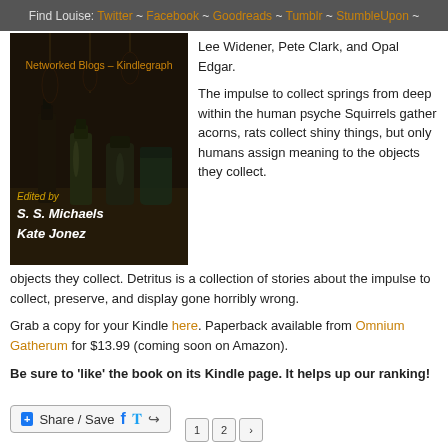Find Louise: Twitter ~ Facebook ~ Goodreads ~ Tumblr ~ StumbleUpon ~
[Figure (photo): Book cover for 'Detritus' edited by S. S. Michaels and Kate Jonez, showing dark bottles on a table. Overlay text reads 'Networked Blogs – Kindlegraph']
Lee Widener, Pete Clark, and Opal Edgar.
The impulse to collect springs from deep within the human psyche Squirrels gather acorns, rats collect shiny things, but only humans assign meaning to the objects they collect. Detritus is a collection of stories about the impulse to collect, preserve, and display gone horribly wrong.
Grab a copy for your Kindle here. Paperback available from Omnium Gatherum for $13.99 (coming soon on Amazon).
Be sure to 'like' the book on its Kindle page. It helps up our ranking!
[Figure (screenshot): Share/Save button with Facebook and Twitter icons]
1 2 >